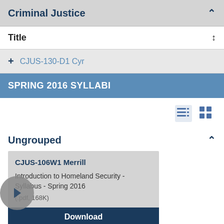Criminal Justice
Title
CJUS-130-D1 Cyr
SPRING 2016 SYLLABI
[Figure (screenshot): List view and grid view toggle icons]
Ungrouped
CJUS-106W1 Merrill
Introduction to Homeland Security - Syllabus - Spring 2016
(.pdf, 168K)
Download